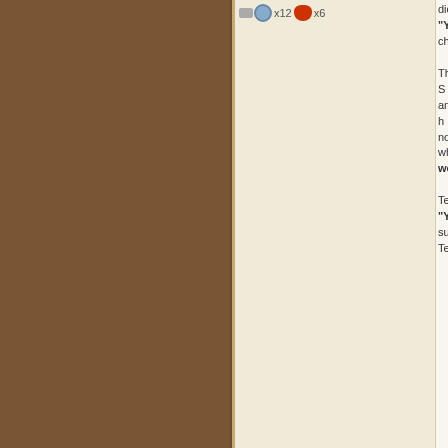x12  x6
didn't
"Yea... chuc...

The S... and h... now... wher... would...

Terry... "You... sure... Terry...
01-20-2014, 08:04 PM
Team ronmione
[Figure (illustration): Slytherin badge text in green italic serif font]
[Figure (illustration): Games and Sports badge with M icon in red and orange italic text]
Moke
[Figure (photo): Avatar photo of a dark-haired woman]
Mr.